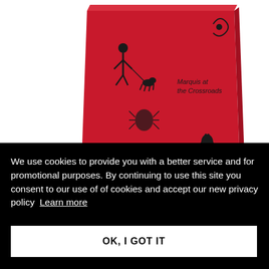[Figure (photo): A red square book photographed from above at a slight angle. The book cover features black illustrated figures including a person with a dog, a rooster, and decorative elements. Text on the cover reads 'Marquis at the Crossroads' and 'Bruno Munari' at the bottom left.]
We use cookies to provide you with a better service and for promotional purposes. By continuing to use this site you consent to our use of cookies and accept our new privacy policy  Learn more
OK, I GOT IT